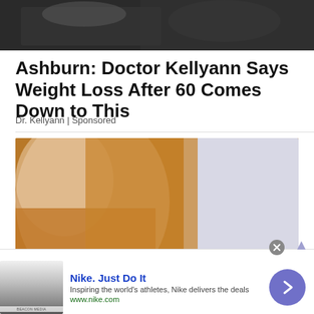[Figure (photo): Top portion of a photo showing a person in a dark top against a light background, cropped at the top of the page.]
Ashburn: Doctor Kellyann Says Weight Loss After 60 Comes Down to This
Dr. Kellyann | Sponsored
[Figure (photo): Close-up photo of a person wearing an orange/rust-colored short-sleeve top, with a hand resting on their chest/shoulder area. Background is light gray/lavender.]
[Figure (screenshot): Advertisement banner for Nike. Shows a thumbnail image on the left, Nike logo text 'Nike. Just Do It' in blue, description 'Inspiring the world's athletes, Nike delivers the deals', URL 'www.nike.com', and a purple arrow button on the right. A close button (X) appears at the top right of the ad.]